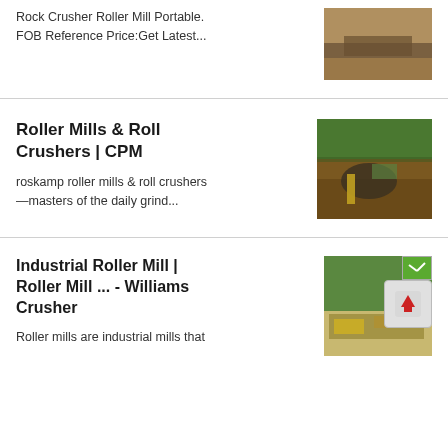Rock Crusher Roller Mill Portable. FOB Reference Price:Get Latest...
[Figure (photo): Aerial or close-up photo of crushed rock/gravel material]
Roller Mills & Roll Crushers | CPM
[Figure (photo): Aerial view of a mining or quarry site with heavy machinery, conveyors, and piles of soil]
roskamp roller mills & roll crushers—masters of the daily grind...
Industrial Roller Mill | Roller Mill ... - Williams Crusher
[Figure (photo): Outdoor industrial roller mill or crusher machinery at a site with trees in background]
Roller mills are industrial mills that